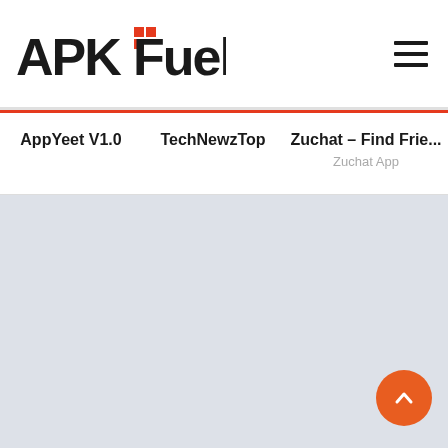APKFuel
AppYeet V1.0
TechNewzTop
Zuchat – Find Frie... Zuchat App
[Figure (other): Light gray background content area placeholder]
[Figure (other): Orange circular scroll-to-top button with upward chevron arrow]